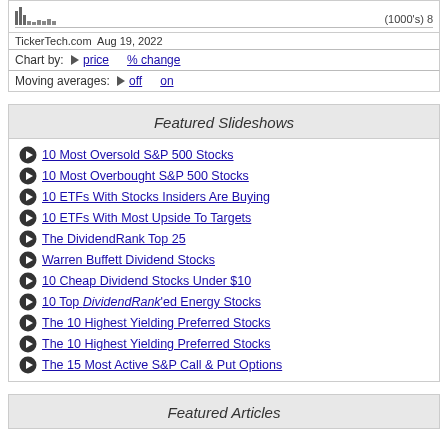[Figure (other): Partial stock chart stub showing bar chart with (1000's) label and number 8]
TickerTech.com Aug 19, 2022
Chart by: ▶ price   % change
Moving averages: ▶ off   on
Featured Slideshows
10 Most Oversold S&P 500 Stocks
10 Most Overbought S&P 500 Stocks
10 ETFs With Stocks Insiders Are Buying
10 ETFs With Most Upside To Targets
The DividendRank Top 25
Warren Buffett Dividend Stocks
10 Cheap Dividend Stocks Under $10
10 Top DividendRank'ed Energy Stocks
The 10 Highest Yielding Preferred Stocks
The 10 Highest Yielding Preferred Stocks
The 15 Most Active S&P Call & Put Options
Featured Articles